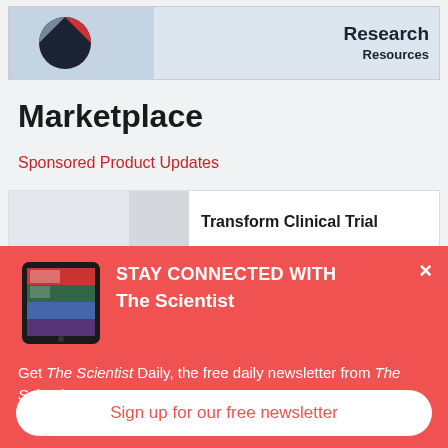[Figure (screenshot): Top banner with logo/image on left and 'Research Resources' text on right]
Marketplace
Sponsored Product Updates
[Figure (screenshot): Card with thumbnail and 'Transform Clinical Trial' text]
[Figure (illustration): Red popup overlay with tablet image showing The Scientist app]
STAY CONNECTED WITH The Scientist
Get The Scientist Daily, the free daily newsletter from The Scientist
Sign up for our free newsletter